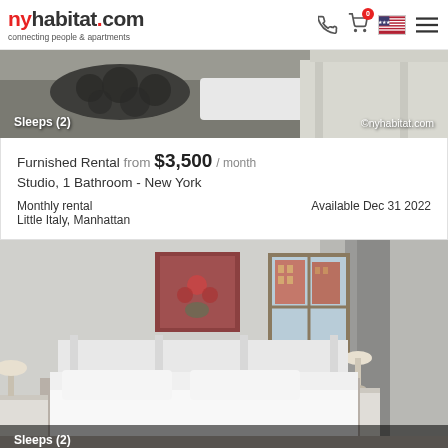nyhabitat.com connecting people & apartments
[Figure (photo): Bedroom photo with decorative pillows, showing 'Sleeps (2)' label and ©nyhabitat.com watermark]
Furnished Rental from $3,500 / month
Studio, 1 Bathroom - New York
Monthly rental
Little Italy, Manhattan
Available Dec 31 2022
[Figure (photo): Bedroom photo with white bed, artwork on wall, window with view of brick buildings, 'Sleeps (2)' label at bottom]